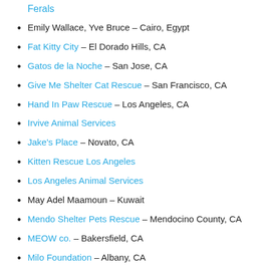Ferals
Emily Wallace, Yve Bruce – Cairo, Egypt
Fat Kitty City – El Dorado Hills, CA
Gatos de la Noche – San Jose, CA
Give Me Shelter Cat Rescue – San Francisco, CA
Hand In Paw Rescue – Los Angeles, CA
Irvive Animal Services
Jake's Place – Novato, CA
Kitten Rescue Los Angeles
Los Angeles Animal Services
May Adel Maamoun – Kuwait
Mendo Shelter Pets Rescue – Mendocino County, CA
MEOW co. – Bakersfield, CA
Milo Foundation – Albany, CA
My Cats & Dogs – Kuwait
Nazila Motahari – Abu Dhabi, United Arab Emirates